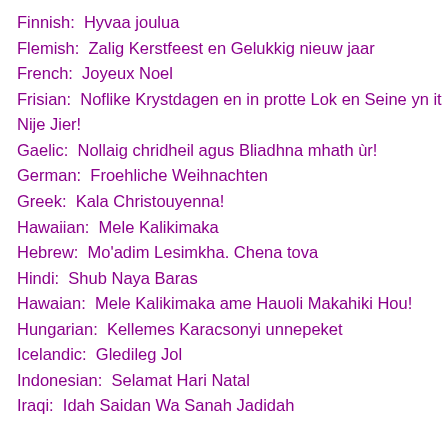Finnish:  Hyvaa joulua
Flemish:  Zalig Kerstfeest en Gelukkig nieuw jaar
French:  Joyeux Noel
Frisian:  Noflike Krystdagen en in protte Lok en Seine yn it Nije Jier!
Gaelic:  Nollaig chridheil agus Bliadhna mhath ùr!
German:  Froehliche Weihnachten
Greek:  Kala Christouyenna!
Hawaiian:  Mele Kalikimaka
Hebrew:  Mo'adim Lesimkha. Chena tova
Hindi:  Shub Naya Baras
Hawaian:  Mele Kalikimaka ame Hauoli Makahiki Hou!
Hungarian:  Kellemes Karacsonyi unnepeket
Icelandic:  Gledileg Jol
Indonesian:  Selamat Hari Natal
Iraqi:  Idah Saidan Wa Sanah Jadidah